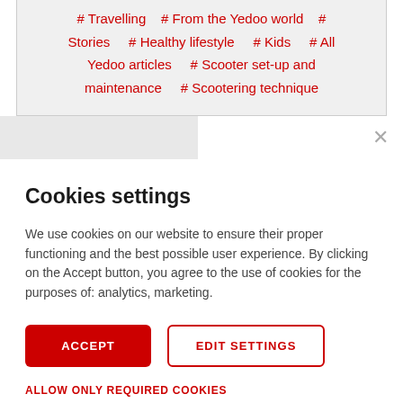# Travelling   # From the Yedoo world   # Stories   # Healthy lifestyle   # Kids   # All Yedoo articles   # Scooter set-up and maintenance   # Scootering technique
Cookies settings
We use cookies on our website to ensure their proper functioning and the best possible user experience. By clicking on the Accept button, you agree to the use of cookies for the purposes of: analytics, marketing.
ACCEPT
EDIT SETTINGS
ALLOW ONLY REQUIRED COOKIES